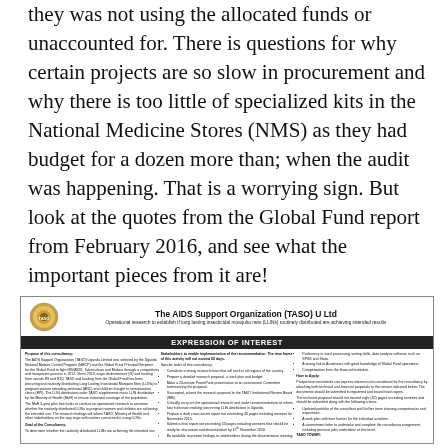procurement and accessing the monies, as they was not using the allocated funds or unaccounted for. There is questions for why certain projects are so slow in procurement and why there is too little of specialized kits in the National Medicine Stores (NMS) as they had budget for a dozen more than; when the audit was happening. That is a worrying sign. But look at the quotes from the Global Fund report from February 2016, and see what the important pieces from it are!
[Figure (other): TASO (The AIDS Support Organization Uganda Ltd) Expression of Interest document box. Contains organization logo, title, subtitle about operational research on long lasting insecticidal mosquito nets (LLINs), an Expression of Interest banner, and three columns of small text with details about the consultancy requirements, specific tasks, deliverables, and qualifications.]